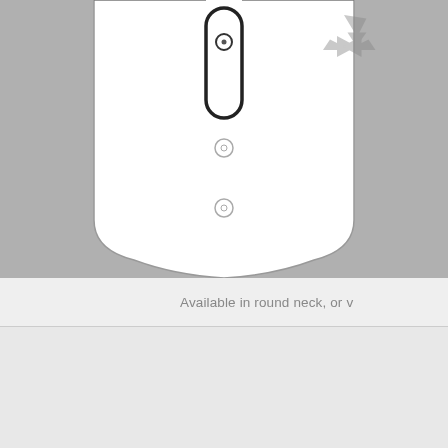[Figure (schematic): Technical schematic diagram of a sports shirt/jersey viewed from the back, showing button placket detail at the top and three circular marker points along the center back. The shirt is white with black outlines on a gray background. A recycling/return symbol icon appears in the upper right.]
Available in round neck, or v
[Figure (engineering-diagram): Close-up magnification diagram showing fabric texture (white mesh fabric with small dark pattern marks) with a circular inset showing a 3D cross-section of the fabric at microscopic level. Yellow triangular arrows pointing upward from a layered surface, with dark background showing fiber structure. Red triangular shape and blue gradient appear on right side suggesting heat/moisture management technology.]